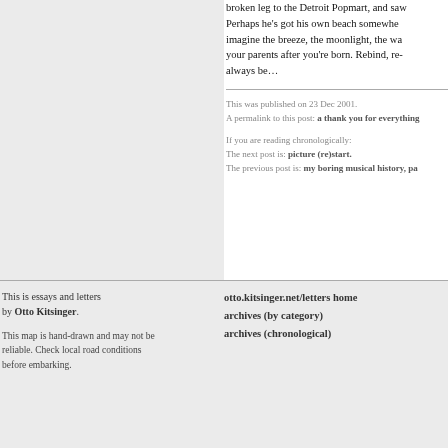broken leg to the Detroit Popmart, and saw... Perhaps he's got his own beach somewhere... imagine the breeze, the moonlight, the wa... your parents after you're born. Rebind, re-... always be...
This was published on 23 Dec 2001.
A permalink to this post: a thank you for everything
If you are reading chronologically:
The next post is: picture (re)start.
The previous post is: my boring musical history, pa...
This is essays and letters by Otto Kitsinger.
This map is hand-drawn and may not be reliable. Check local road conditions before embarking.
otto.kitsinger.net/letters home
archives (by category)
archives (chronological)